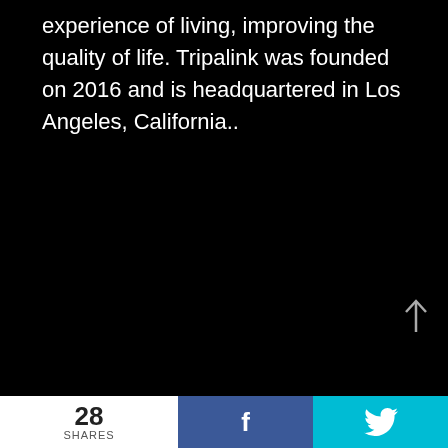experience of living, improving the quality of life. Tripalink was founded on 2016 and is headquartered in Los Angeles, California..
28 SHARES  f  (twitter bird icon)